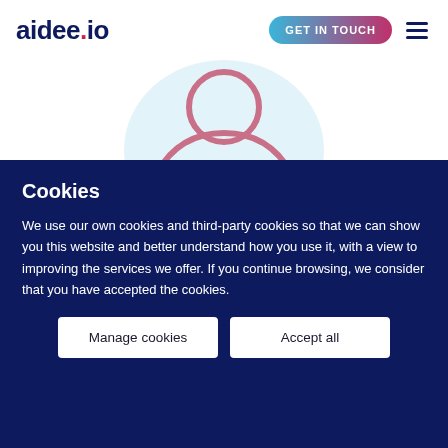aidee.io | GET IN TOUCH
[Figure (illustration): User avatar icon: a circle representing head and a curved arc representing shoulders, drawn in rose/pink color on a light blue circular background]
Cookies
We use our own cookies and third-party cookies so that we can show you this website and better understand how you use it, with a view to improving the services we offer. If you continue browsing, we consider that you have accepted the cookies.
Manage cookies | Accept all